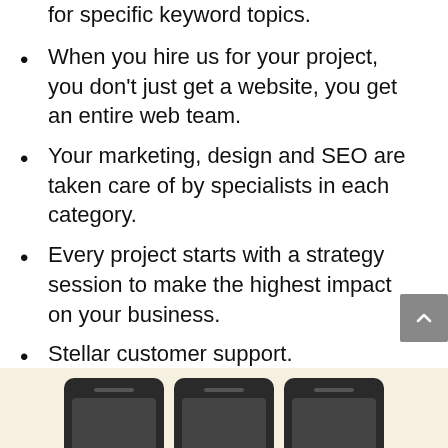for specific keyword topics.
When you hire us for your project, you don't just get a website, you get an entire web team.
Your marketing, design and SEO are taken care of by specialists in each category.
Every project starts with a strategy session to make the highest impact on your business.
Stellar customer support.
Fast turnaround time on all requests.
We make awesome websites and help businesses grow.
[Figure (screenshot): Bottom banner with cream/yellow background showing three dark phone/device mockups partially visible at the bottom of the page]